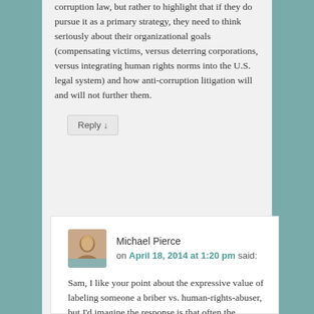corruption law, but rather to highlight that if they do pursue it as a primary strategy, they need to think seriously about their organizational goals (compensating victims, versus deterring corporations, versus integrating human rights norms into the U.S. legal system) and how anti-corruption litigation will and will not further them.
Reply ↓
Michael Pierce on April 18, 2014 at 1:20 pm said:
Sam, I like your point about the expressive value of labeling someone a briber vs. human-rights-abuser, but I'd imagine the response is that often the negative publicity towards a company arises because of the salacious and/or horrifying facts/documents that are unearthed during the discovery process, thus whether those